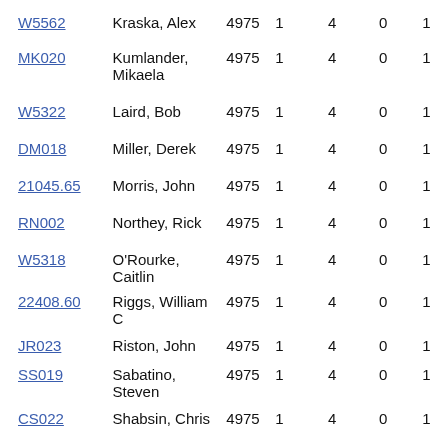| ID | Name | Col1 | Col2 | Col3 | Col4 | Col5 |
| --- | --- | --- | --- | --- | --- | --- |
| W5562 | Kraska, Alex | 4975 | 1 | 4 | 0 | 1 |
| MK020 | Kumlander, Mikaela | 4975 | 1 | 4 | 0 | 1 |
| W5322 | Laird, Bob | 4975 | 1 | 4 | 0 | 1 |
| DM018 | Miller, Derek | 4975 | 1 | 4 | 0 | 1 |
| 21045.65 | Morris, John | 4975 | 1 | 4 | 0 | 1 |
| RN002 | Northey, Rick | 4975 | 1 | 4 | 0 | 1 |
| W5318 | O'Rourke, Caitlin | 4975 | 1 | 4 | 0 | 1 |
| 22408.60 | Riggs, William C | 4975 | 1 | 4 | 0 | 1 |
| JR023 | Riston, John | 4975 | 1 | 4 | 0 | 1 |
| SS019 | Sabatino, Steven | 4975 | 1 | 4 | 0 | 1 |
| CS022 | Shabsin, Chris | 4975 | 1 | 4 | 0 | 1 |